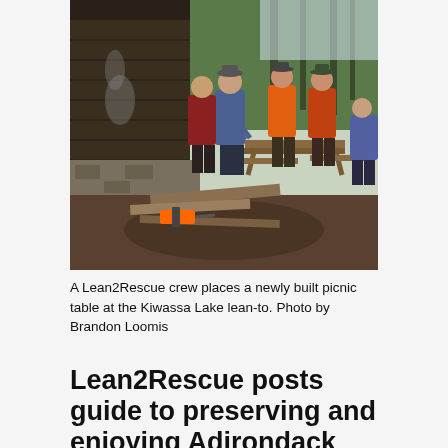[Figure (photo): A Lean2Rescue crew placing a newly built picnic table outside a log cabin lean-to in a forest. Several people in work clothes and hats are visible. Lumber planks and a chainsaw are on the ground. Trees visible in the background.]
A Lean2Rescue crew places a newly built picnic table at the Kiwassa Lake lean-to. Photo by Brandon Loomis
Lean2Rescue posts guide to preserving and enjoying Adirondack shelters